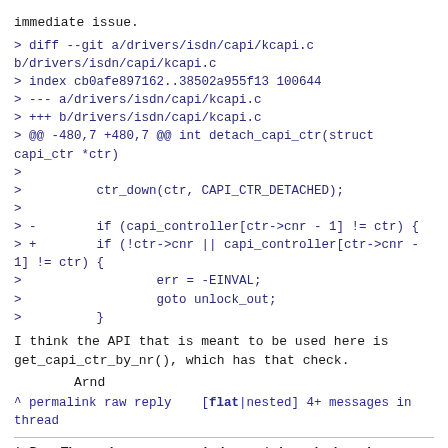immediate issue.
> diff --git a/drivers/isdn/capi/kcapi.c b/drivers/isdn/capi/kcapi.c
> index cb0afe897162..38502a955f13 100644
> --- a/drivers/isdn/capi/kcapi.c
> +++ b/drivers/isdn/capi/kcapi.c
> @@ -480,7 +480,7 @@ int detach_capi_ctr(struct capi_ctr *ctr)
>
>          ctr_down(ctr, CAPI_CTR_DETACHED);
>
> -        if (capi_controller[ctr->cnr - 1] != ctr) {
> +        if (!ctr->cnr || capi_controller[ctr->cnr -
1] != ctr) {
>                  err = -EINVAL;
>                  goto unlock_out;
>          }
I think the API that is meant to be used here is
get_capi_ctr_by_nr(), which has that check.
Arnd
^ permalink raw reply    [flat|nested] 4+ messages in
thread
* Re: There is an array-index-out-bounds bug in
detach_capi_ctr in drivers/isdn/capi/kcapi.c